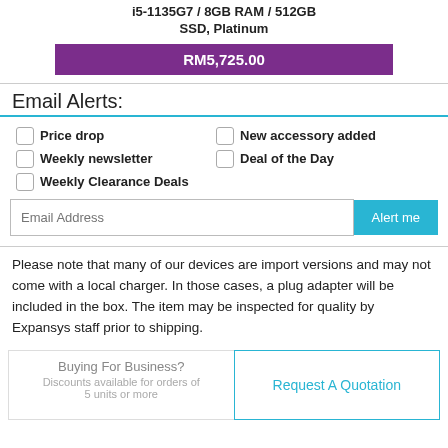i5-1135G7 / 8GB RAM / 512GB SSD, Platinum
RM5,725.00
Email Alerts:
Price drop
New accessory added
Weekly newsletter
Deal of the Day
Weekly Clearance Deals
Please note that many of our devices are import versions and may not come with a local charger. In those cases, a plug adapter will be included in the box. The item may be inspected for quality by Expansys staff prior to shipping.
Buying For Business?
Discounts available for orders of 5 units or more
Request A Quotation